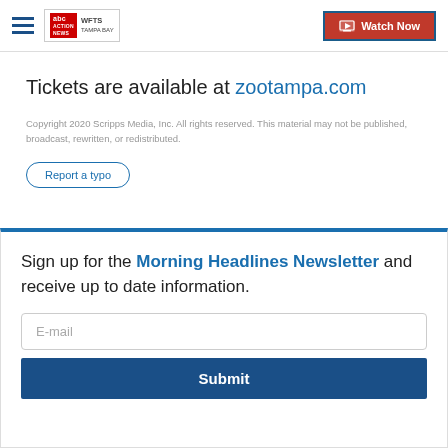WFTS ABC Tampa Bay | Watch Now
Tickets are available at zootampa.com
Copyright 2020 Scripps Media, Inc. All rights reserved. This material may not be published, broadcast, rewritten, or redistributed.
Report a typo
Sign up for the Morning Headlines Newsletter and receive up to date information.
E-mail
Submit